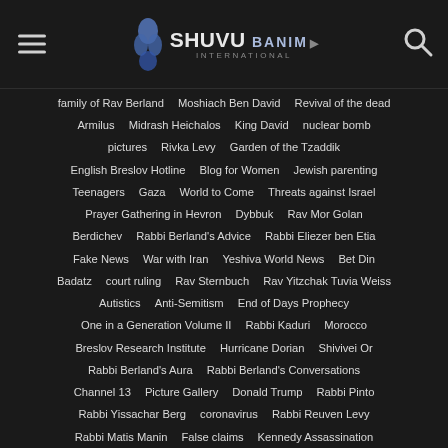Shuvu Banim International
family of Rav Berland
Moshiach Ben David
Revival of the dead
Armilus
Midrash Heichalos
King David
nuclear bomb
pictures
Rivka Levy
Garden of the Tzaddik
English Breslov Hotline
Blog for Women
Jewish parenting
Teenagers
Gaza
World to Come
Threats against Israel
Prayer Gathering in Hevron
Dybbuk
Rav Mor Golan
Berdichev
Rabbi Berland's Advice
Rabbi Eliezer ben Etia
Fake News
War with Iran
Yeshiva World News
Bet Din
Badatz
court ruling
Rav Sternbuch
Rav Yitzchak Tuvia Weiss
Autistics
Anti-Semitism
End of Days Prophecy
One in a Generation Volume II
Rabbi Kaduri
Morocco
Breslov Research Institute
Hurricane Dorian
Shivivei Or
Rabbi Berland's Aura
Rabbi Berland's Conversations
Channel 13
Picture Gallery
Donald Trump
Rabbi Pinto
Rabbi Yissachar Berg
coronavirus
Rabbi Reuven Levy
Rabbi Matis Manin
False claims
Kennedy Assassination
Corrupt State of Israel
Rav Sriel Rosenberg
Rav Yehuda Fisher
Rabbi Yoshiyahu Pinto
webinar about Rabbi Berland
Webinars
VIRTUAL YESHIVA
Rabbi Yitzhak Batzri
Rav Pinchas Bunker